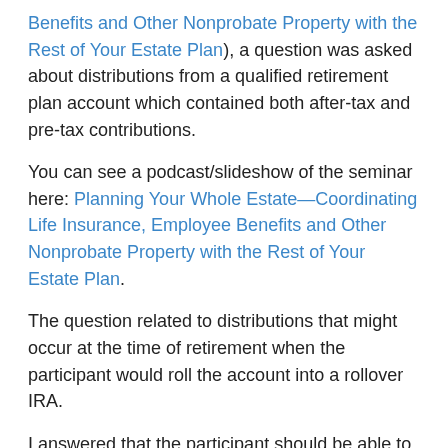Benefits and Other Nonprobate Property with the Rest of Your Estate Plan), a question was asked about distributions from a qualified retirement plan account which contained both after-tax and pre-tax contributions.
You can see a podcast/slideshow of the seminar here: Planning Your Whole Estate—Coordinating Life Insurance, Employee Benefits and Other Nonprobate Property with the Rest of Your Estate Plan.
The question related to distributions that might occur at the time of retirement when the participant would roll the account into a rollover IRA.
I answered that the participant should be able to receive the after-tax portion without the imposition of income tax and should be able to rollover the pre-tax portion to the